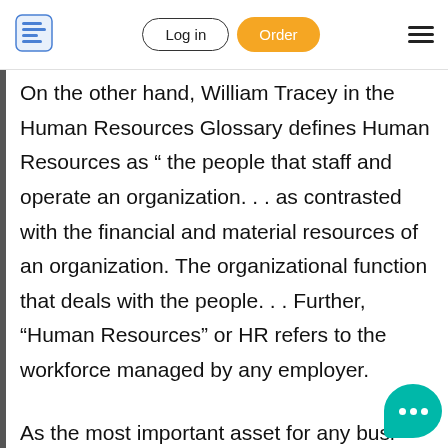Log in | Order
On the other hand, William Tracey in the Human Resources Glossary defines Human Resources as “ the people that staff and operate an organization. . . as contrasted with the financial and material resources of an organization. The organizational function that deals with the people. . . Further, “Human Resources” or HR refers to the workforce managed by any employer.
As the most important asset for any busi…